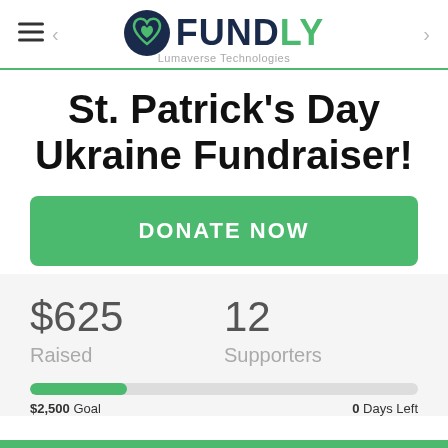FUNDLY — Lumaverse Technologies
St. Patrick's Day Ukraine Fundraiser!
DONATE NOW
$625 Raised
12 Supporters
$2,500 Goal   0 Days Left